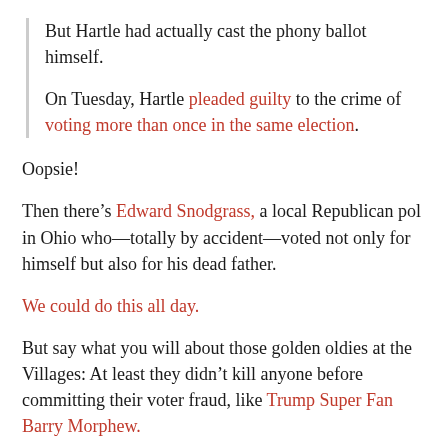But Hartle had actually cast the phony ballot himself.
On Tuesday, Hartle pleaded guilty to the crime of voting more than once in the same election.
Oopsie!
Then there’s Edward Snodgrass, a local Republican pol in Ohio who—totally by accident—voted not only for himself but also for his dead father.
We could do this all day.
But say what you will about those golden oldies at the Villages: At least they didn’t kill anyone before committing their voter fraud, like Trump Super Fan Barry Morphew.